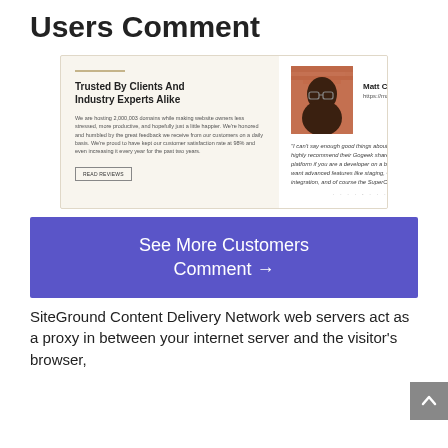Users Comment
[Figure (screenshot): Testimonial widget showing 'Trusted By Clients And Industry Experts Alike' on the left with body text and READ REVIEWS button, and on the right a photo of Matt Cromwell with URL https://mattcromwell.com and an italicized testimonial quote about SiteGround hosting platform. Navigation dots shown at bottom.]
See More Customers Comment →
SiteGround Content Delivery Network web servers act as a proxy in between your internet server and the visitor's browser,